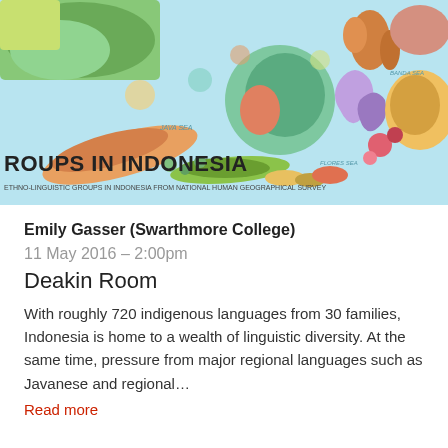[Figure (map): Map of ethnic/linguistic groups in Indonesia showing colorful regions across the Indonesian archipelago and surrounding areas]
Emily Gasser (Swarthmore College)
11 May 2016 – 2:00pm
Deakin Room
With roughly 720 indigenous languages from 30 families, Indonesia is home to a wealth of linguistic diversity. At the same time, pressure from major regional languages such as Javanese and regional…
Read more